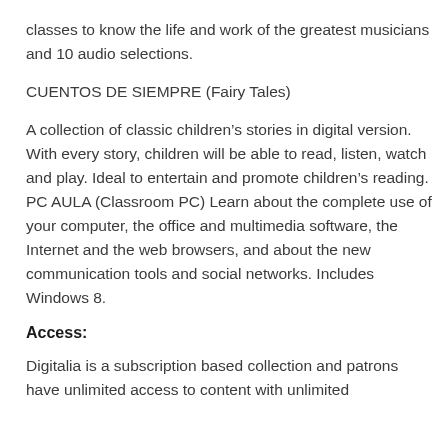classes to know the life and work of the greatest musicians and 10 audio selections.
CUENTOS DE SIEMPRE (Fairy Tales)
A collection of classic children's stories in digital version. With every story, children will be able to read, listen, watch and play. Ideal to entertain and promote children's reading. PC AULA (Classroom PC) Learn about the complete use of your computer, the office and multimedia software, the Internet and the web browsers, and about the new communication tools and social networks. Includes Windows 8.
Access:
Digitalia is a subscription based collection and patrons have unlimited access to content with unlimited